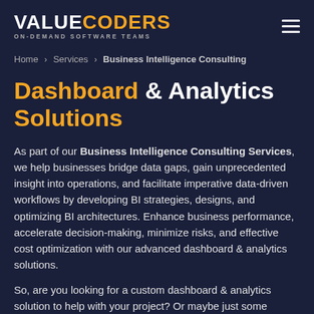VALUECODERS ON-DEMAND SOFTWARE TEAMS
Home > Services > Business Intelligence Consulting
Dashboard & Analytics Solutions
As part of our Business Intelligence Consulting Services, we help businesses bridge data gaps, gain unprecedented insight into operations, and facilitate imperative data-driven workflows by developing BI strategies, designs, and optimizing BI architectures. Enhance business performance, accelerate decision-making, minimize risks, and effective cost optimization with our advanced dashboard & analytics solutions.
So, are you looking for a custom dashboard & analytics solution to help with your project? Or maybe just some